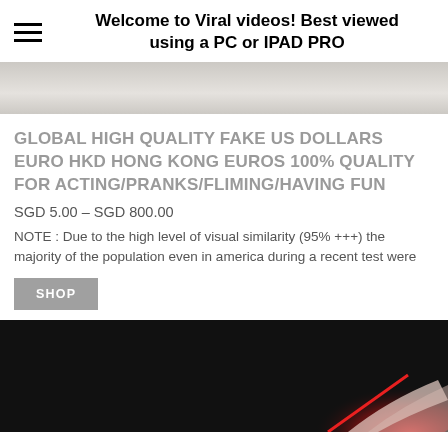Welcome to Viral videos! Best viewed using a PC or IPAD PRO
[Figure (photo): Partially visible product image with light background, cropped at top of page]
GLOBAL HIGH QUALITY FAKE US DOLLARS EURO HKD HONG KONG EUROS 100% QUALITY FOR ACTING/PRANKS/FLIMING/HAVING FUN
SGD 5.00 – SGD 800.00
NOTE : Due to the high level of visual similarity (95% +++) the majority of the population even in america during a recent test were
SHOP
[Figure (photo): Dark/black background with a red light and a hand holding something, bottom portion of page]